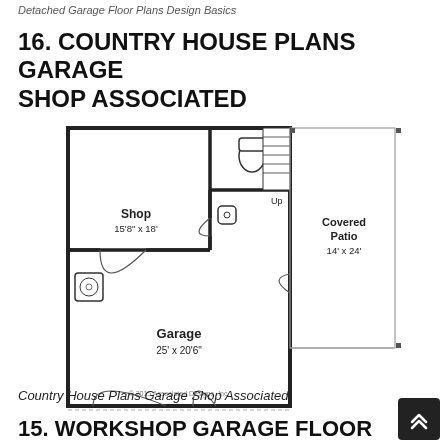Detached Garage Floor Plans Design Basics
16. COUNTRY HOUSE PLANS GARAGE SHOP ASSOCIATED
[Figure (engineering-diagram): Floor plan of Country House Plans Garage Shop Associated. Shows a Shop (15'8" x 18'), Garage (25' x 20'6"), bathroom with toilet and sink, staircase with 'Up' label, and Covered Patio (14' x 24'). Copyright 2015 Associated Designs, Inc.]
Country House Plans Garage Shop Associated
15. WORKSHOP GARAGE FLOOR